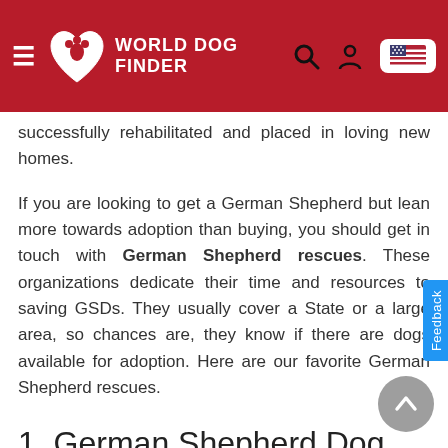World Dog Finder
successfully rehabilitated and placed in loving new homes.
If you are looking to get a German Shepherd but lean more towards adoption than buying, you should get in touch with German Shepherd rescues. These organizations dedicate their time and resources to saving GSDs. They usually cover a State or a large area, so chances are, they know if there are dogs available for adoption. Here are our favorite German Shepherd rescues.
1. German Shepherd Dog Rescue Group of GA